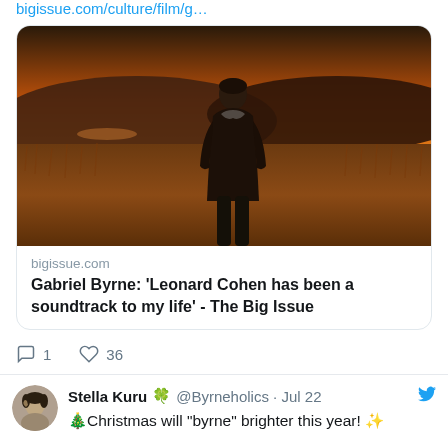bigissue.com/culture/film/g…
[Figure (photo): Photo of a man standing in a field with golden grasses, hills and an orange/purple sunset sky in the background. The man is wearing a dark coat and looking downward.]
bigissue.com
Gabriel Byrne: 'Leonard Cohen has been a soundtrack to my life' - The Big Issue
1   36
Stella Kuru 🍀 @Byrneholics · Jul 22
🎄Christmas will "byrne" brighter this year! ✨

The Boy, the Mole, the Fox and the Horse by @charliemackesy will arrive on your screen